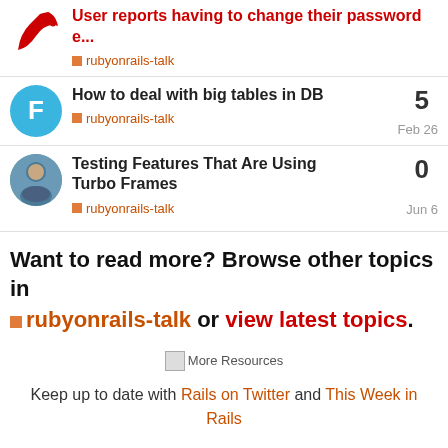User reports having to change their password e... | rubyonrails-talk
How to deal with big tables in DB | rubyonrails-talk | Feb 26 | replies: 5
Testing Features That Are Using Turbo Frames | rubyonrails-talk | Jun 6 | replies: 0
Want to read more? Browse other topics in rubyonrails-talk or view latest topics.
[Figure (illustration): More Resources icon/image placeholder]
Keep up to date with Rails on Twitter and This Week in Rails
Policies: Conduct, License, Maintenance, Security, Trademarks